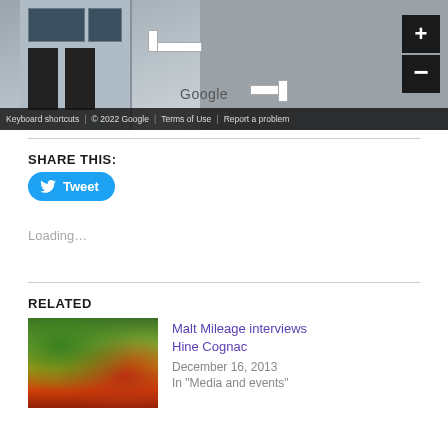[Figure (screenshot): Google Street View map embed showing a building facade with zoom controls (+/-) and footer bar with 'Keyboard shortcuts | © 2022 Google | Terms of Use | Report a problem']
SHARE THIS:
[Figure (other): Twitter Tweet button (blue rounded button with bird icon and 'Tweet' text)]
Loading...
RELATED
[Figure (photo): Thumbnail image showing colorful illustrated bottles and landscape background]
Malt Mileage interviews Hine Cognac
December 16, 2013
In "Media and events"